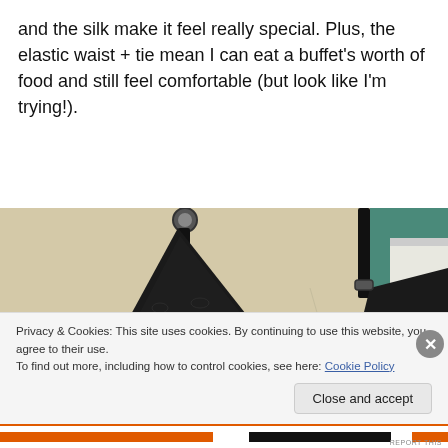and the silk make it feel really special. Plus, the elastic waist + tie mean I can eat a buffet's worth of food and still feel comfortable (but look like I'm trying!).
[Figure (photo): Close-up photo of a black lace bra displayed on a mannequin or hanger against a light beige/cream background, with a hint of teal and white shelving visible in the upper right corner.]
Privacy & Cookies: This site uses cookies. By continuing to use this website, you agree to their use.
To find out more, including how to control cookies, see here: Cookie Policy
Close and accept